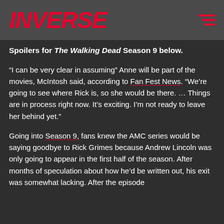INVERSE
Spoilers for The Walking Dead Season 9 below.
“I can be very clear in assuming” Anne will be part of the movies, McIntosh said, according to Fan Fest News. “We’re going to see where Rick is, so she would be there. … Things are in process right now. It’s exciting. I’m not ready to leave her behind yet.”
Going into Season 9, fans knew the AMC series would be saying goodbye to Rick Grimes because Andrew Lincoln was only going to appear in the first half of the season. After months of speculation about how he’d be written out, his exit was somewhat lacking. After the episode